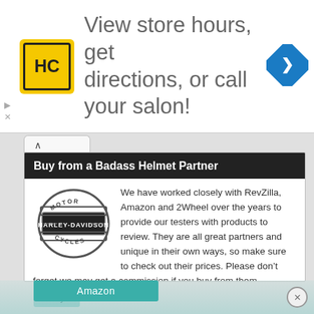[Figure (logo): HC Salon logo and ad banner: yellow square logo with HC initials, text 'View store hours, get directions, or call your salon!', blue navigation diamond icon]
Buy from a Badass Helmet Partner
[Figure (logo): Harley-Davidson Motor Cycles shield logo in black and silver]
We have worked closely with RevZilla, Amazon and 2Wheel over the years to provide our testers with products to review. They are all great partners and unique in their own ways, so make sure to check out their prices. Please don’t forget we may get a commission if you buy from them.
Amazon